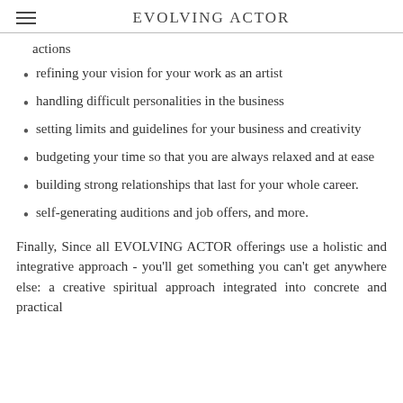EVOLVING ACTOR
actions
refining your vision for your work as an artist
handling difficult personalities in the business
setting limits and guidelines for your business and creativity
budgeting your time so that you are always relaxed and at ease
building strong relationships that last for your whole career.
self-generating auditions and job offers, and more.
Finally, Since all EVOLVING ACTOR offerings use a holistic and integrative approach - you'll get something you can't get anywhere else: a creative spiritual approach integrated into concrete and practical